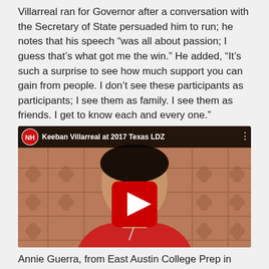Villarreal ran for Governor after a conversation with the Secretary of State persuaded him to run; he notes that his speech “was all about passion; I guess that’s what got me the win.” He added, “It’s such a surprise to see how much support you can gain from people. I don’t see these participants as participants; I see them as family. I see them as friends. I get to know each and every one.”
[Figure (screenshot): YouTube video thumbnail showing Keeban Villarreal at 2017 Texas LDZ. A young man in a red shirt stands in front of a decorative lattice wall. A YouTube play button is overlaid in the center. The video title bar shows the NH logo and 'Keeban Villarreal at 2017 Texas LDZ'.]
Annie Guerra, from East Austin College Prep in Austin, Texas,